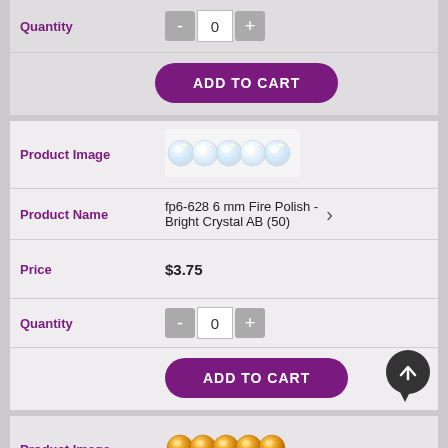| Field | Value |
| --- | --- |
| Quantity | 0 (quantity selector with - and + buttons) |
|  | ADD TO CART |
| Field | Value |
| --- | --- |
| Product Image | [crystal clear beads image] |
| Product Name | fp6-628 6 mm Fire Polish - Bright Crystal AB (50) |
| Price | $3.75 |
| Quantity | 0 (quantity selector with - and + buttons) |
|  | ADD TO CART |
| Field | Value |
| --- | --- |
| Product Image | [golden topaz beads image] |
| Product Name | fp6-629 6 mm Fire Polish - Topaz Medium (25) |
| Price | $2.00 |